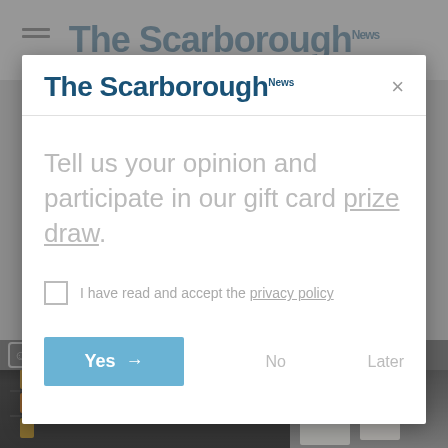[Figure (screenshot): Background showing The Scarborough News website with a modal dialog overlay. The modal contains the newspaper logo 'The Scarborough News', a close button (×), a prompt text 'Tell us your opinion and participate in our gift card prize draw.', a privacy policy checkbox, and three buttons: Yes (arrow), No, and Later. Below the modal is a photo of pharmacy/shop shelves with products and a 'Powered by UserReport' bar.]
The Scarborough News
The Scarborough News
Tell us your opinion and participate in our gift card prize draw.
I have read and accept the privacy policy
Yes → No Later
Powered by UserReport